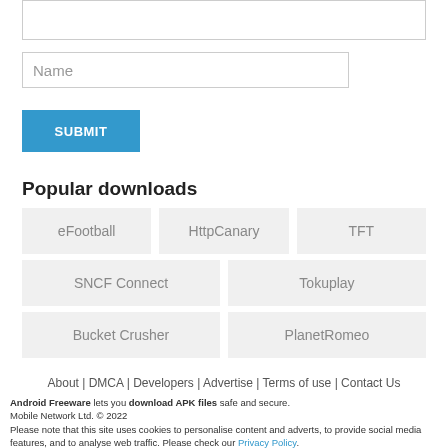[Figure (screenshot): Top input area (text area, partially visible)]
[Figure (screenshot): Name input field with placeholder text 'Name']
[Figure (screenshot): Blue SUBMIT button]
Popular downloads
eFootball
HttpCanary
TFT
SNCF Connect
Tokuplay
Bucket Crusher
PlanetRomeo
About | DMCA | Developers | Advertise | Terms of use | Contact Us
Android Freeware lets you download APK files safe and secure.
Mobile Network Ltd. © 2022
Please note that this site uses cookies to personalise content and adverts, to provide social media features, and to analyse web traffic. Please check our Privacy Policy.
Android is a trademark of Google Inc. Use of this trademark is subject to Google Permissions.